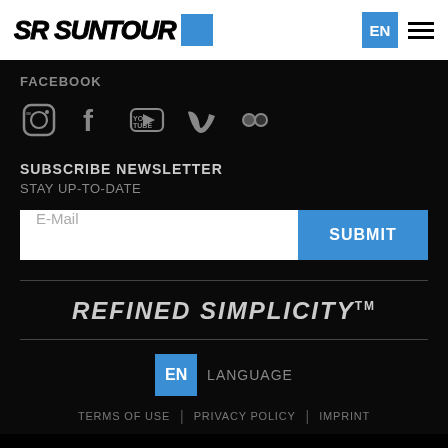[Figure (logo): SR Suntour logo with italic bold text and blue square icon, plus EN language button and hamburger menu on the right]
FACEBOOK
[Figure (infographic): Row of social media icons: Instagram, Facebook, YouTube, Vimeo, Flickr]
SUBSCRIBE NEWSLETTER
STAY UP-TO-DATE
[Figure (infographic): Email input field with placeholder 'E-Mail' and blue SUBMIT button]
REFINED SIMPLICITY™
EN LANGUAGE
TERMS OF USE | PRIVACY POLICY | IMPRINT